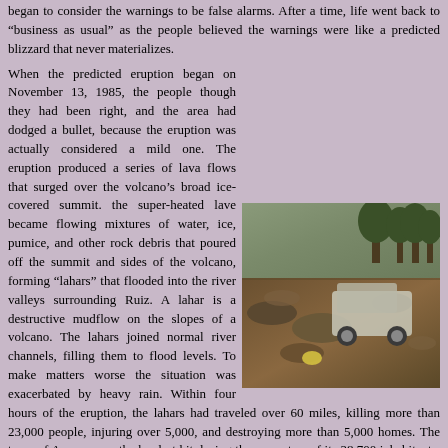began to consider the warnings to be false alarms. After a time, life went back to “business as usual” as the people believed the warnings were like a predicted blizzard that never materializes.
When the predicted eruption began on November 13, 1985, the people though they had been right, and the area had dodged a bullet, because the eruption was actually considered a mild one. The eruption produced a series of lava flows that surged over the volcano’s broad ice-covered summit. the super-heated lave became flowing mixtures of water, ice, pumice, and other rock debris that poured off the summit and sides of the volcano, forming “lahars” that flooded into the river valleys surrounding Ruiz. A lahar is a destructive mudflow on the slopes of a volcano. The lahars joined normal river channels, filling them to flood levels. To make matters worse the situation was exacerbated by heavy rain. Within four hours of the eruption, the lahars had traveled over 60 miles, killing more than 23,000 people, injuring over 5,000, and destroying more than 5,000 homes. The town of Armero was the hardest hit, losing three quarters of its 28,700 inhabitants. The lahars destroyed everything in their paths: roads, bridges, farm fields, aqueducts and telephone lines. They wiped out 50 schools, two hospitals, in addition to the more than 5,000 homes. The region lost 60 percent of its livestock, 30 percent of grain and rice crops, and half a million bags of coffee. 7,500 people were left homeless.
[Figure (photo): Photograph of destruction from lahar mudflow — overturned vehicle and debris in muddy landscape with trees in background]
[Figure (photo): Black and white photograph of a person (victim or survivor) affected by the disaster]
Because there had been ample warning, the lesson could have